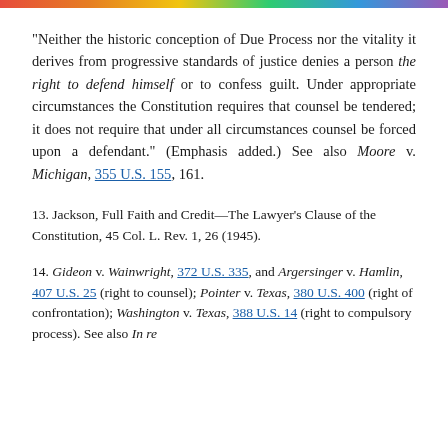"Neither the historic conception of Due Process nor the vitality it derives from progressive standards of justice denies a person the right to defend himself or to confess guilt. Under appropriate circumstances the Constitution requires that counsel be tendered; it does not require that under all circumstances counsel be forced upon a defendant." (Emphasis added.) See also Moore v. Michigan, 355 U.S. 155, 161.
13. Jackson, Full Faith and Credit—The Lawyer's Clause of the Constitution, 45 Col. L. Rev. 1, 26 (1945).
14. Gideon v. Wainwright, 372 U.S. 335, and Argersinger v. Hamlin, 407 U.S. 25 (right to counsel); Pointer v. Texas, 380 U.S. 400 (right of confrontation); Washington v. Texas, 388 U.S. 14 (right to compulsory process). See also In re